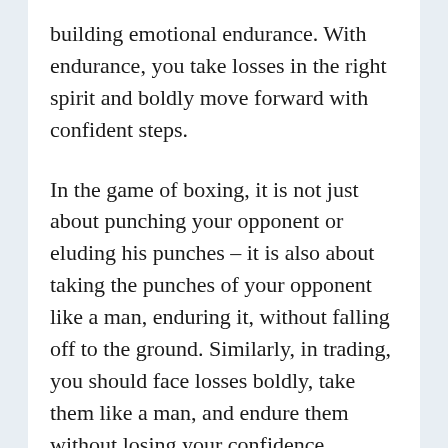building emotional endurance. With endurance, you take losses in the right spirit and boldly move forward with confident steps.
In the game of boxing, it is not just about punching your opponent or eluding his punches – it is also about taking the punches of your opponent like a man, enduring it, without falling off to the ground. Similarly, in trading, you should face losses boldly, take them like a man, and endure them without losing your confidence.
However, this does not mean that you